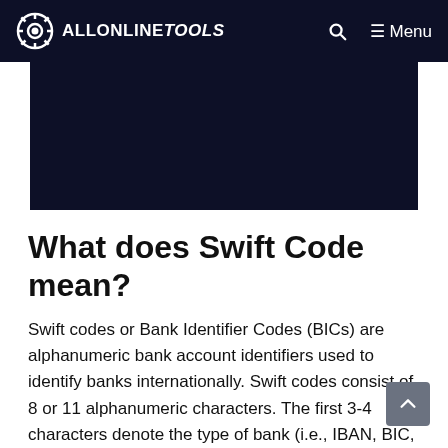ALLONLINETOOLS — Menu
[Figure (other): Dark navy blue banner/advertisement placeholder area]
What does Swift Code mean?
Swift codes or Bank Identifier Codes (BICs) are alphanumeric bank account identifiers used to identify banks internationally. Swift codes consist of 8 or 11 alphanumeric characters. The first 3-4 characters denote the type of bank (i.e., IBAN, BIC, SWIFT) and